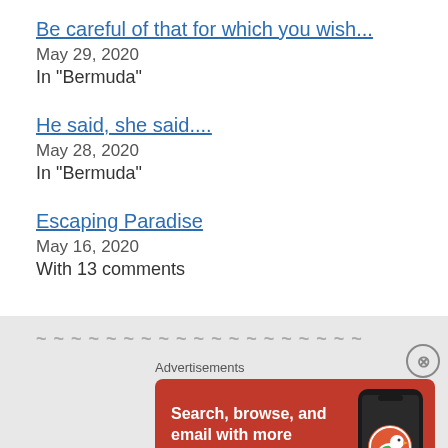Be careful of that for which you wish...
May 29, 2020
In "Bermuda"
He said, she said....
May 28, 2020
In "Bermuda"
Escaping Paradise
May 16, 2020
With 13 comments
[Figure (screenshot): DuckDuckGo advertisement banner with orange/red background. Text reads 'Search, browse, and email with more privacy. All in One Free App' with DuckDuckGo logo and phone image.]